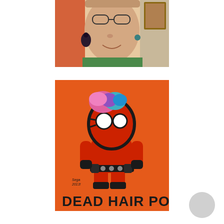[Figure (photo): Close-up selfie photo of a person smiling, wearing glasses, a green top, and dark floral earrings. A picture frame is visible in the background.]
[Figure (illustration): Orange background illustration of a chibi-style Deadpool character with colorful (pink, blue, teal) hair instead of a mask, wearing the iconic red and black suit with swords on back and a belt. Text at bottom reads 'DEAD HAIR POOL' in bold black letters. Signed 'Sega 2013!' in the lower left.]